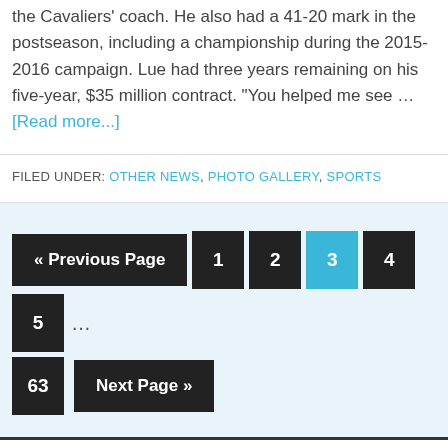the Cavaliers' coach. He also had a 41-20 mark in the postseason, including a championship during the 2015-2016 campaign. Lue had three years remaining on his five-year, $35 million contract. "You helped me see … [Read more...]
FILED UNDER: OTHER NEWS, PHOTO GALLERY, SPORTS
« Previous Page 1 2 3 4 5 … 63 Next Page »